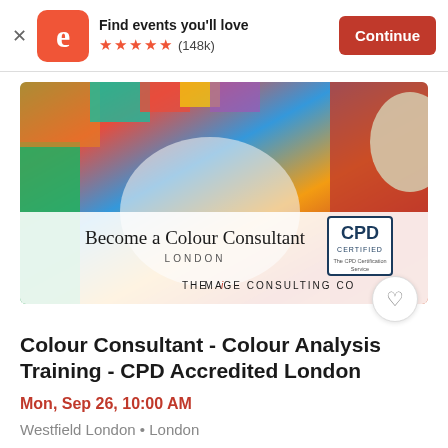Find events you'll love ★★★★★ (148k) Continue
[Figure (photo): A colour consultant looking at colour swatches and fabric samples on a table. Overlay text reads 'Become a Colour Consultant LONDON' with THE iMAGE CONSULTING CO branding and a CPD CERTIFIED badge.]
Colour Consultant - Colour Analysis Training - CPD Accredited London
Mon, Sep 26, 10:00 AM
Westfield London • London